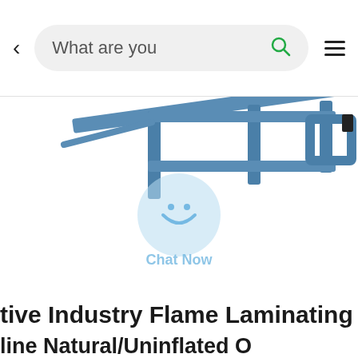< What are you [search bar with magnifier icon] ≡
[Figure (photo): Industrial blue metal frame machine — flame laminating machine — viewed from above at an angle, showing rectangular structural frame components against a white background. A 'Chat Now' watermark/widget is overlaid in light blue.]
tive Industry Flame Laminating M... line Natural/Uninflated O...